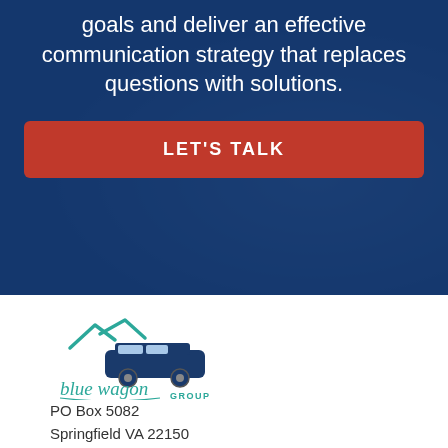goals and deliver an effective communication strategy that replaces questions with solutions.
LET'S TALK
[Figure (logo): Blue Wagon Group logo: teal script text 'blue wagon group' with a blue station wagon illustration and teal mountain/roof rack graphic above]
PO Box 5082
Springfield VA 22150